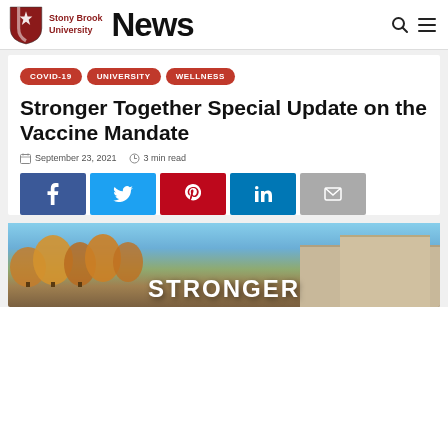Stony Brook University News
COVID-19
UNIVERSITY
WELLNESS
Stronger Together Special Update on the Vaccine Mandate
September 23, 2021  3 min read
[Figure (illustration): Social sharing buttons: Facebook, Twitter, Pinterest, LinkedIn, Email]
[Figure (photo): Campus photo with autumn trees and buildings, overlaid with bold white text reading STRONGER TOGETHER]